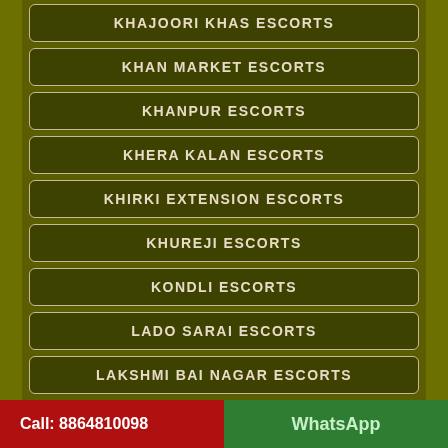KHAJOORI KHAS ESCORTS
KHAN MARKET ESCORTS
KHANPUR ESCORTS
KHERA KALAN ESCORTS
KHIRKI EXTENSION ESCORTS
KHUREJI ESCORTS
KONDLI ESCORTS
LADO SARAI ESCORTS
LAKSHMI BAI NAGAR ESCORTS
LAL KUAN ESCORTS
LAWRENCE ROAD ESCORTS
Call: 8864810098   WhatsApp